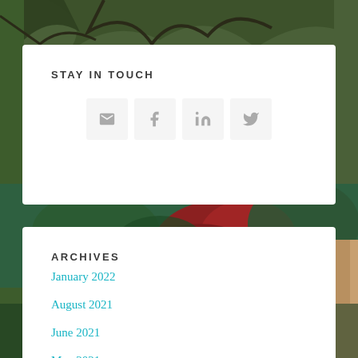[Figure (photo): Background photograph of a garden with green foliage, red berries/flowers, and a person partially visible on the right edge, with tree branches overhead]
STAY IN TOUCH
[Figure (infographic): Four social media icon buttons in a row: email (envelope), Facebook (f), LinkedIn (in), Twitter (bird)]
ARCHIVES
January 2022
August 2021
June 2021
May 2021